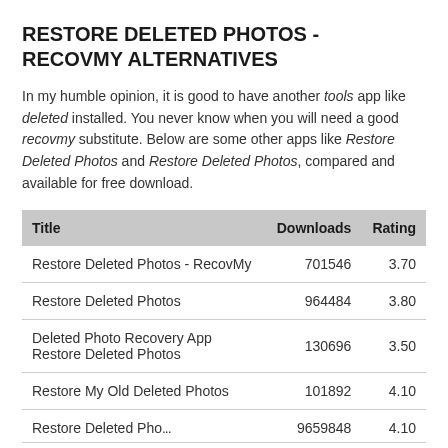RESTORE DELETED PHOTOS - RECOVMY ALTERNATIVES
In my humble opinion, it is good to have another tools app like deleted installed. You never know when you will need a good recovmy substitute. Below are some other apps like Restore Deleted Photos and Restore Deleted Photos, compared and available for free download.
| Title | Downloads | Rating |
| --- | --- | --- |
| Restore Deleted Photos - RecovMy | 701546 | 3.70 |
| Restore Deleted Photos | 964484 | 3.80 |
| Deleted Photo Recovery App Restore Deleted Photos | 130696 | 3.50 |
| Restore My Old Deleted Photos | 101892 | 4.10 |
| Restore Deleted Pho... | 9659848 | 4.10 |